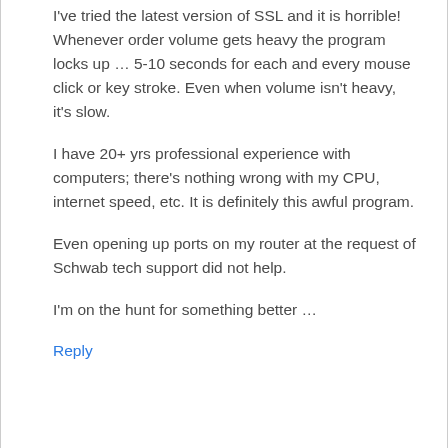I've tried the latest version of SSL and it is horrible! Whenever order volume gets heavy the program locks up … 5-10 seconds for each and every mouse click or key stroke. Even when volume isn't heavy, it's slow.
I have 20+ yrs professional experience with computers; there's nothing wrong with my CPU, internet speed, etc. It is definitely this awful program.
Even opening up ports on my router at the request of Schwab tech support did not help.
I'm on the hunt for something better …
Reply